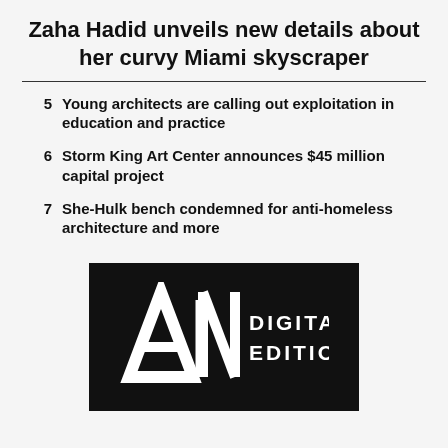Zaha Hadid unveils new details about her curvy Miami skyscraper
5  Young architects are calling out exploitation in education and practice
6  Storm King Art Center announces $45 million capital project
7  She-Hulk bench condemned for anti-homeless architecture and more
[Figure (logo): A|N Digital Edition logo — white text on black background with stylized A and N letters and text DIGITAL EDITION]